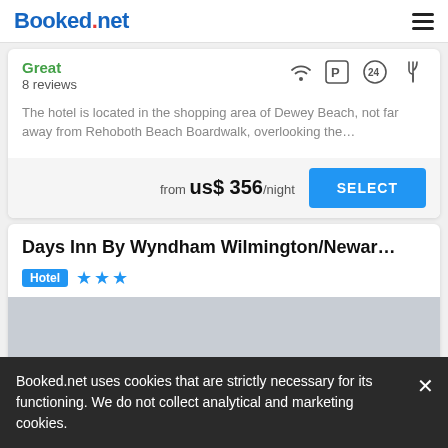Booked.net
Great
8 reviews
The hotel is located in the shopping area of Dewey Beach, not far away from Rehoboth Beach Boardwalk, overlooking the…
from us$ 356/night
Days Inn By Wyndham Wilmington/Newar…
Hotel ★★★
[Figure (photo): Gray placeholder image for hotel photo]
Booked.net uses cookies that are strictly necessary for its functioning. We do not collect analytical and marketing cookies.